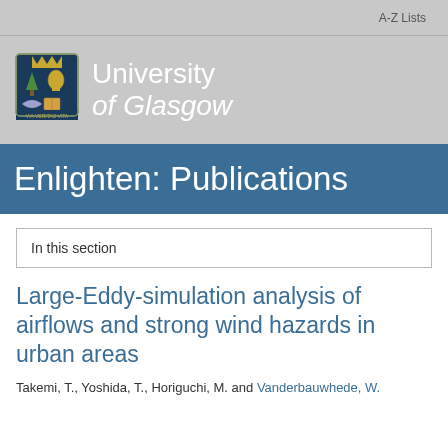A-Z Lists
[Figure (logo): University of Glasgow logo with coat of arms and white text reading 'University of Glasgow']
Enlighten: Publications
In this section
Large-Eddy-simulation analysis of airflows and strong wind hazards in urban areas
Takemi, T., Yoshida, T., Horiguchi, M. and Vanderbauwhede, W.